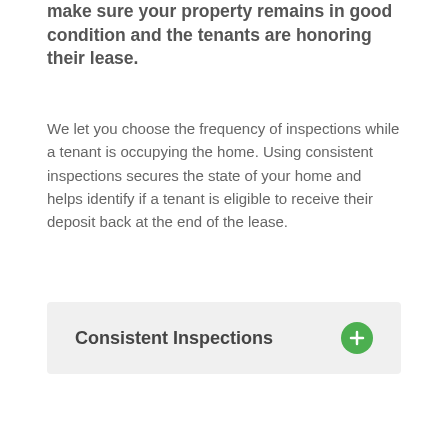make sure your property remains in good condition and the tenants are honoring their lease.
We let you choose the frequency of inspections while a tenant is occupying the home. Using consistent inspections secures the state of your home and helps identify if a tenant is eligible to receive their deposit back at the end of the lease.
Consistent Inspections